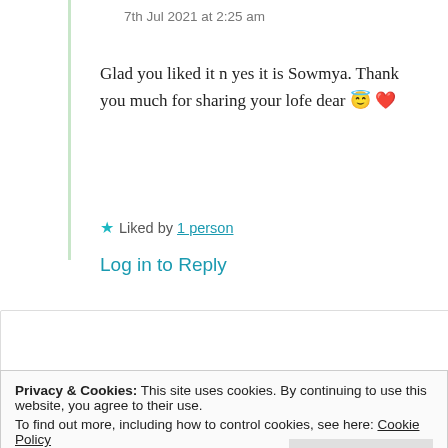7th Jul 2021 at 2:25 am
Glad you liked it n yes it is Sowmya. Thank you much for sharing your lofe dear 😇 ❤️
★ Liked by 1 person
Log in to Reply
writersiyandamzolo
Privacy & Cookies: This site uses cookies. By continuing to use this website, you agree to their use.
To find out more, including how to control cookies, see here: Cookie Policy
Close and accept